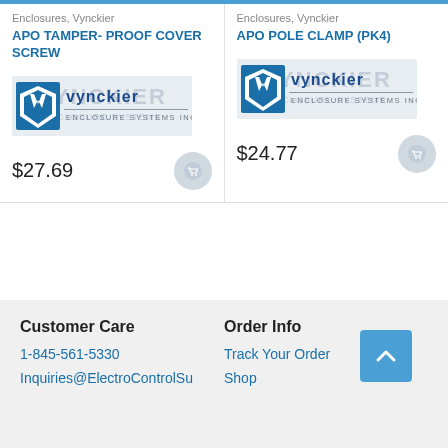Enclosures, Vynckier
APO TAMPER- PROOF COVER SCREW
[Figure (logo): Vynckier Enclosure Systems Inc. logo with shield icon]
$27.69
Enclosures, Vynckier
APO POLE CLAMP (PK4)
[Figure (logo): Vynckier Enclosure Systems Inc. logo with shield icon]
$24.77
Customer Care
1-845-561-5330
Inquiries@ElectroControlSu

Order Info
Track Your Order
Shop